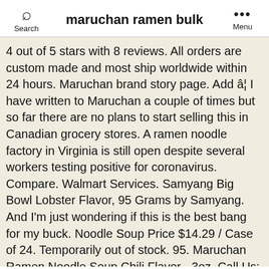maruchan ramen bulk
4 out of 5 stars with 8 reviews. All orders are custom made and most ship worldwide within 24 hours. Maruchan brand story page. Add â¦ I have written to Maruchan a couple of times but so far there are no plans to start selling this in Canadian grocery stores. A ramen noodle factory in Virginia is still open despite several workers testing positive for coronavirus. Compare. Walmart Services. Samyang Big Bowl Lobster Flavor, 95 Grams by Samyang. And I'm just wondering if this is the best bang for my buck. Noodle Soup Price $14.29 / Case of 24. Temporarily out of stock. 95. Maruchan Ramen Noodle Soup Chili Flavor - 3oz. Call Us: 323-980-8170; How BW Works; Sign â¦ Try. An ideal buy for cafes, bistros, soup bars, and diners, the bulk case contains 24 packs of Maruchan noodle soup. Maruchan Instant products belong to a Japanese company that deals in high quality ramen noodles and other soup products across the world. To do this, simply drain off the broth